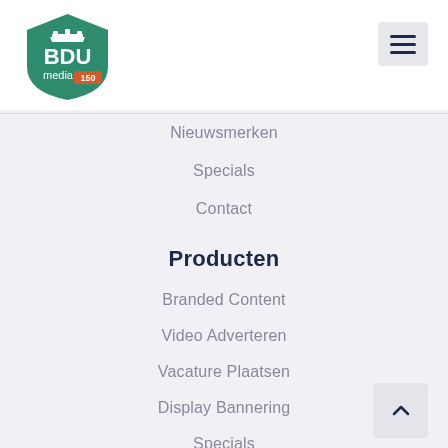[Figure (logo): BDU media 150 year logo — green shield shape with crown, white BDU text, 'media' text with orange '150' badge]
Nieuwsmerken
Specials
Contact
Producten
Branded Content
Video Adverteren
Vacature Plaatsen
Display Bannering
Specials